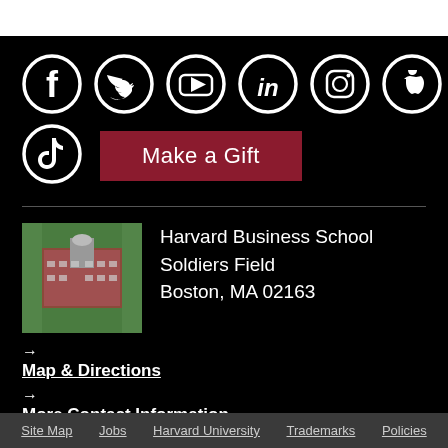[Figure (illustration): Row of social media icons in white circles on black background: Facebook, Twitter, YouTube, LinkedIn, Instagram, Apple]
[Figure (illustration): TikTok social media icon in white circle on black background]
Make a Gift
[Figure (photo): Aerial photo of Harvard Business School campus building]
Harvard Business School
Soldiers Field
Boston, MA 02163
→ Map & Directions
→ More Contact Information
Site Map   Jobs   Harvard University   Trademarks   Policies